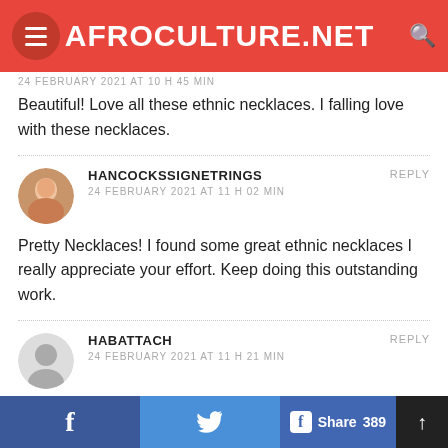AFROCULTURE.NET
24 FEBRUARY 2021 AT 10 H 45 MIN
Beautiful! Love all these ethnic necklaces. I falling love with these necklaces.
HANCOCKSSIGNETRINGS
24 FEBRUARY 2021 AT 11 H 02 MIN
Pretty Necklaces! I found some great ethnic necklaces I really appreciate your effort. Keep doing this outstanding work.
HABATTACH
24 FEBRUARY 2021 AT 11 H 21 MIN
Great Blog! I love this post and found it very amazing. Thanks a lot for sharing
f | Twitter | Share 389 | ↑